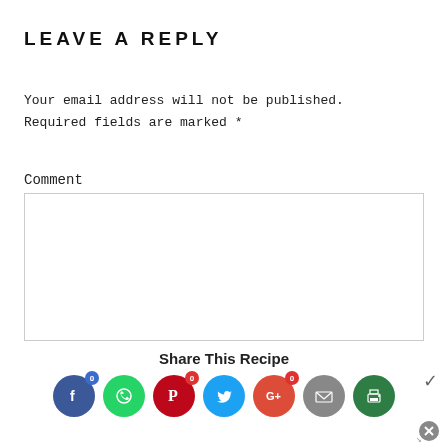LEAVE A REPLY
Your email address will not be published. Required fields are marked *
Comment
[Figure (screenshot): Empty comment text area input box]
Share This Recipe
[Figure (infographic): Social sharing icons row: Facebook (0), WhatsApp, Pinterest (0), Twitter, Google+ (0), Email, Print. With a chevron arrow on the right side and a close (x) button at bottom right.]